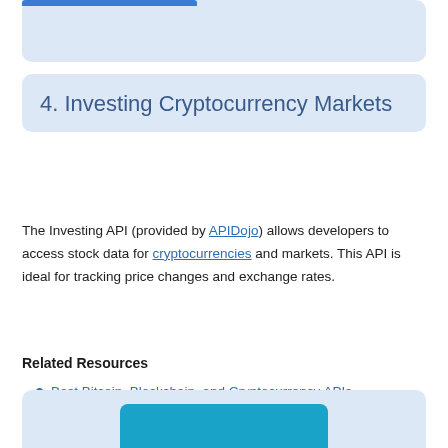4. Investing Cryptocurrency Markets
The Investing API (provided by APIDojo) allows developers to access stock data for cryptocurrencies and markets. This API is ideal for tracking price changes and exchange rates.
Related Resources
Best Bitcoin, Blockchain, and Cryptocurrency APIs
[Figure (other): Partial view of a card with a teal/blue rounded rectangle element visible at the bottom of the page]